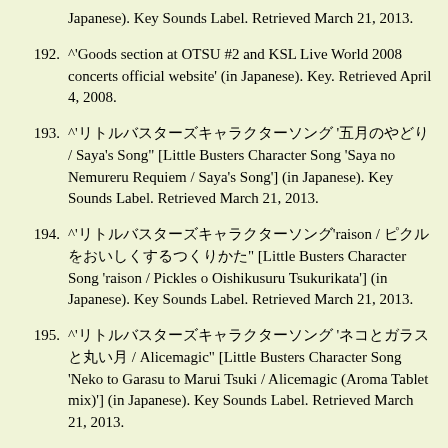Japanese). Key Sounds Label. Retrieved March 21, 2013.
192. ^'Goods section at OTSU #2 and KSL Live World 2008 concerts official website' (in Japanese). Key. Retrieved April 4, 2008.
193. ^'[Japanese characters] '[Japanese characters] / Saya's Song" [Little Busters Character Song 'Saya no Nemureru Requiem / Saya's Song'] (in Japanese). Key Sounds Label. Retrieved March 21, 2013.
194. ^'[Japanese characters]'raison / [Japanese characters]" [Little Busters Character Song 'raison / Pickles o Oishikusuru Tsukurikata'] (in Japanese). Key Sounds Label. Retrieved March 21, 2013.
195. ^'[Japanese characters] '[Japanese characters] / Alicemagic" [Little Busters Character Song 'Neko to Garasu to Marui Tsuki / Alicemagic (Aroma Tablet mix)'] (in Japanese). Key Sounds Label. Retrieved March 21, 2013.
196. ^'Deejay Busters!' (in Japanese). Key Sounds Label.